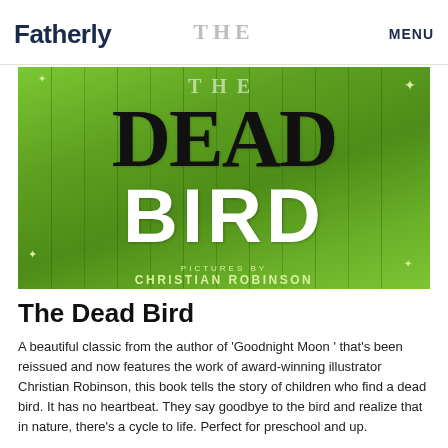Fatherly   THE   MENU
[Figure (photo): Book cover of 'The Dead Bird' with green illustrated background featuring grass, plants and flowers. Large bold black text reads 'DEAD' and white bold text reads 'BIRD'. At the top in faded white text is 'THE'. At the bottom it reads 'PICTURES BY CHRISTIAN ROBINSON'.]
The Dead Bird
A beautiful classic from the author of 'Goodnight Moon ' that's been reissued and now features the work of award-winning illustrator Christian Robinson, this book tells the story of children who find a dead bird. It has no heartbeat. They say goodbye to the bird and realize that in nature, there's a cycle to life. Perfect for preschool and up.